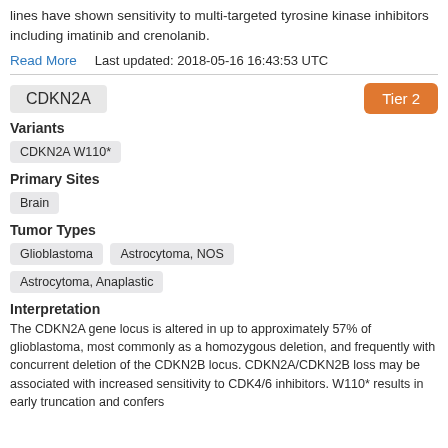lines have shown sensitivity to multi-targeted tyrosine kinase inhibitors including imatinib and crenolanib.
Read More    Last updated: 2018-05-16 16:43:53 UTC
CDKN2A    Tier 2
Variants
CDKN2A W110*
Primary Sites
Brain
Tumor Types
Glioblastoma   Astrocytoma, NOS   Astrocytoma, Anaplastic
Interpretation
The CDKN2A gene locus is altered in up to approximately 57% of glioblastoma, most commonly as a homozygous deletion, and frequently with concurrent deletion of the CDKN2B locus. CDKN2A/CDKN2B loss may be associated with increased sensitivity to CDK4/6 inhibitors. W110* results in early truncation and confers